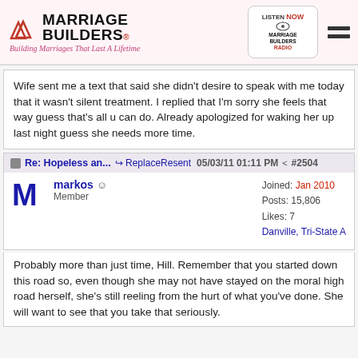Marriage Builders - Building Marriages That Last A Lifetime
Wife sent me a text that said she didn't desire to speak with me today that it wasn't silent treatment. I replied that I'm sorry she feels that way guess that's all u can do. Already apologized for waking her up last night guess she needs more time.
Re: Hopeless an... ReplaceResent 05/03/11 01:11 PM #2504
markos Member — Joined: Jan 2010 Posts: 15,806 Likes: 7 Danville, Tri-State A
Probably more than just time, Hill. Remember that you started down this road so, even though she may not have stayed on the moral high road herself, she's still reeling from the hurt of what you've done. She will want to see that you take that seriously.